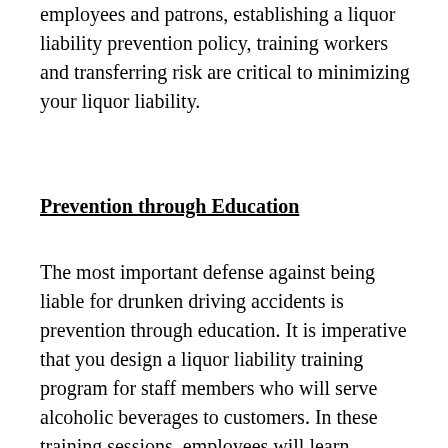employees and patrons, establishing a liquor liability prevention policy, training workers and transferring risk are critical to minimizing your liquor liability.
Prevention through Education
The most important defense against being liable for drunken driving accidents is prevention through education. It is imperative that you design a liquor liability training program for staff members who will serve alcoholic beverages to customers. In these training sessions, employees will learn important information such as how to determine if someone has had too much to drink, how to deny a patron service and how to identify valid forms of identification to customers in